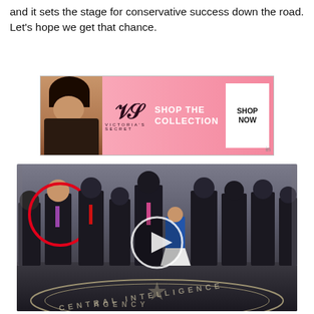and it sets the stage for conservative success down the road. Let's hope we get that chance.
[Figure (photo): Victoria's Secret advertisement banner with model and 'SHOP THE COLLECTION / SHOP NOW' call to action]
[Figure (screenshot): Photo of group of people standing in CIA headquarters lobby with the CIA seal on the floor. One person on the left is highlighted with a red circle. A video play button is overlaid in the center.]
Biden Probably Wants This Video Destroyed — US Dollar On Path Towards Replacement?
▲ 511,867